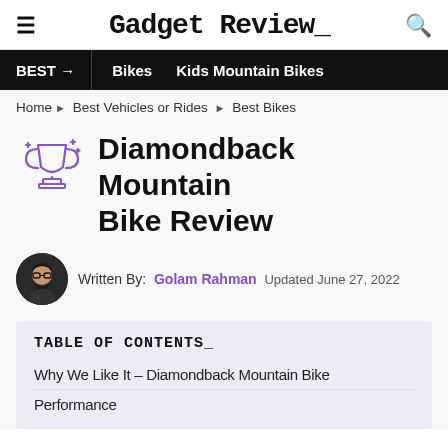Gadget Review_
BEST → | Bikes | Kids Mountain Bikes
Home ▶ Best Vehicles or Rides ▶ Best Bikes
Diamondback Mountain Bike Review
Written By: Golam Rahman  Updated June 27, 2022
TABLE OF CONTENTS_
Why We Like It – Diamondback Mountain Bike
Performance